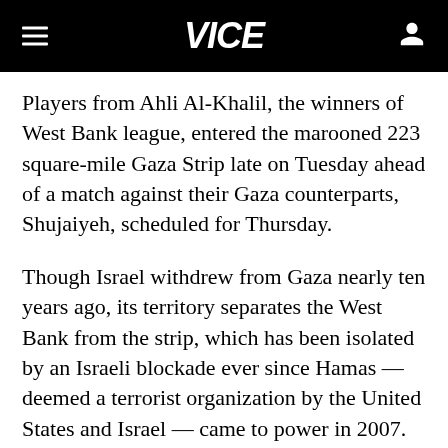VICE
Players from Ahli Al-Khalil, the winners of West Bank league, entered the marooned 223 square-mile Gaza Strip late on Tuesday ahead of a match against their Gaza counterparts, Shujaiyeh, scheduled for Thursday.
Though Israel withdrew from Gaza nearly ten years ago, its territory separates the West Bank from the strip, which has been isolated by an Israeli blockade ever since Hamas — deemed a terrorist organization by the United States and Israel — came to power in 2007. The blockade includes strict controls on the movement of people, goods, into and out of